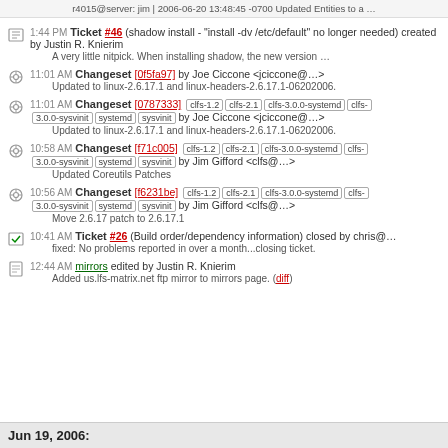r4015@server: jim | 2006-06-20 13:48:45 -0700 Updated Entities to a …
1:44 PM Ticket #46 (shadow install - "install -dv /etc/default" no longer needed) created by Justin R. Knierim
A very little nitpick. When installing shadow, the new version …
11:01 AM Changeset [0f5fa97] by Joe Ciccone <jciccone@…>
Updated to linux-2.6.17.1 and linux-headers-2.6.17.1-06202006.
11:01 AM Changeset [0787333] clfs-1.2 clfs-2.1 clfs-3.0.0-systemd clfs-3.0.0-sysvinit systemd sysvinit by Joe Ciccone <jciccone@…>
Updated to linux-2.6.17.1 and linux-headers-2.6.17.1-06202006.
10:58 AM Changeset [f71c005] clfs-1.2 clfs-2.1 clfs-3.0.0-systemd clfs-3.0.0-sysvinit systemd sysvinit by Jim Gifford <clfs@…>
Updated Coreutils Patches
10:56 AM Changeset [f6231be] clfs-1.2 clfs-2.1 clfs-3.0.0-systemd clfs-3.0.0-sysvinit systemd sysvinit by Jim Gifford <clfs@…>
Move 2.6.17 patch to 2.6.17.1
10:41 AM Ticket #26 (Build order/dependency information) closed by chris@…
fixed: No problems reported in over a month...closing ticket.
12:44 AM mirrors edited by Justin R. Knierim
Added us.lfs-matrix.net ftp mirror to mirrors page. (diff)
Jun 19, 2006: